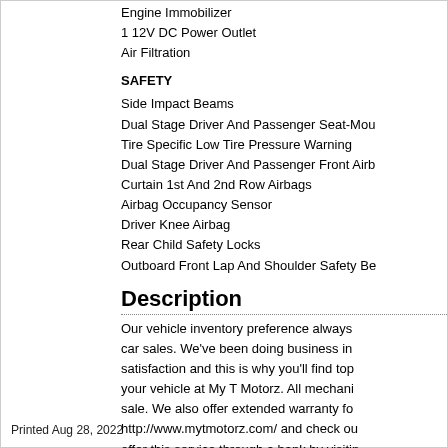Engine Immobilizer
1 12V DC Power Outlet
Air Filtration
SAFETY
Side Impact Beams
Dual Stage Driver And Passenger Seat-Mou
Tire Specific Low Tire Pressure Warning
Dual Stage Driver And Passenger Front Airb
Curtain 1st And 2nd Row Airbags
Airbag Occupancy Sensor
Driver Knee Airbag
Rear Child Safety Locks
Outboard Front Lap And Shoulder Safety Be
Description
Our vehicle inventory preference always car sales. We've been doing business in satisfaction and this is why you'll find top your vehicle at My T Motorz. All mechani sale. We also offer extended warranty fo http://www.mytmotorz.com/ and check ou offer this service through a bank by visitin vehicle of your choice, click on the GET F you'll be on your way to owning the car o Arlington, Texas 76012.
Printed Aug 28, 2022